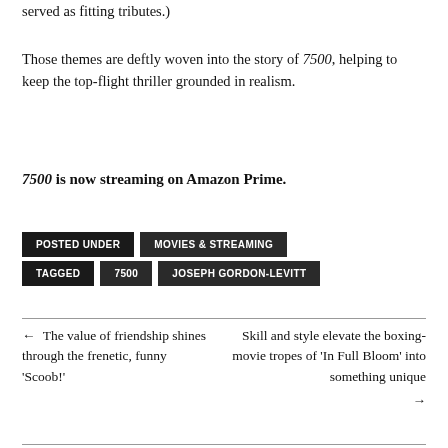served as fitting tributes.)
Those themes are deftly woven into the story of 7500, helping to keep the top-flight thriller grounded in realism.
7500 is now streaming on Amazon Prime.
POSTED UNDER  MOVIES & STREAMING  TAGGED  7500  JOSEPH GORDON-LEVITT
← The value of friendship shines through the frenetic, funny 'Scoob!'
Skill and style elevate the boxing-movie tropes of 'In Full Bloom' into something unique →